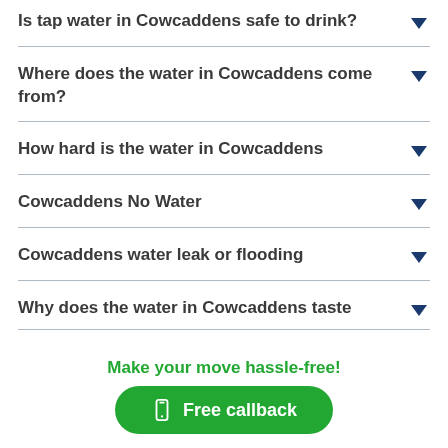Is tap water in Cowcaddens safe to drink?
Where does the water in Cowcaddens come from?
How hard is the water in Cowcaddens
Cowcaddens No Water
Cowcaddens water leak or flooding
Why does the water in Cowcaddens taste
Make your move hassle-free!
Free callback